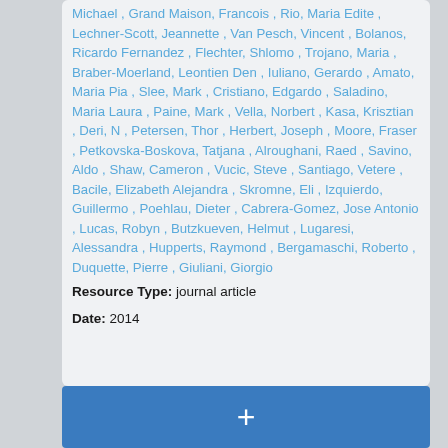Michael , Grand Maison, Francois , Rio, Maria Edite , Lechner-Scott, Jeannette , Van Pesch, Vincent , Bolanos, Ricardo Fernandez , Flechter, Shlomo , Trojano, Maria , Braber-Moerland, Leontien Den , Iuliano, Gerardo , Amato, Maria Pia , Slee, Mark , Cristiano, Edgardo , Saladino, Maria Laura , Paine, Mark , Vella, Norbert , Kasa, Krisztian , Deri, N , Petersen, Thor , Herbert, Joseph , Moore, Fraser , Petkovska-Boskova, Tatjana , Alroughani, Raed , Savino, Aldo , Shaw, Cameron , Vucic, Steve , Santiago, Vetere , Bacile, Elizabeth Alejandra , Skromne, Eli , Izquierdo, Guillermo , Poehlau, Dieter , Cabrera-Gomez, Jose Antonio , Lucas, Robyn , Butzkueven, Helmut , Lugaresi, Alessandra , Hupperts, Raymond , Bergamaschi, Roberto , Duquette, Pierre , Giuliani, Giorgio
Resource Type: journal article
Date: 2014